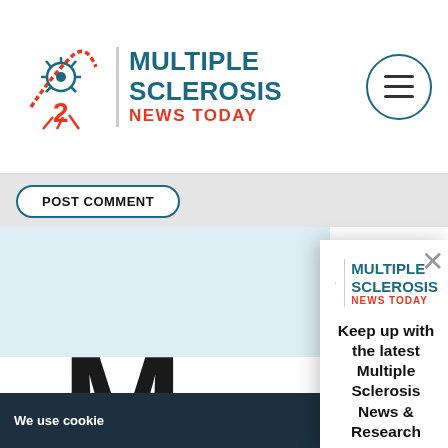[Figure (logo): Multiple Sclerosis News Today logo with snowflake/neuron icon, teal MULTIPLE SCLEROSIS text, red NEWS TODAY text]
[Figure (other): Hamburger menu icon inside a teal circle border]
POST COMMENT
[Figure (logo): Multiple Sclerosis News Today logo (smaller, in modal popup)]
Keep up with the latest Multiple Sclerosis News & Research
Get carefully curated MS content delivered right to your inbox. Keep up with the latest in news, research, lifestyle tips, and more.
Email Address
SUBSCRIBE NOW
We respect your privacy
We use cookie